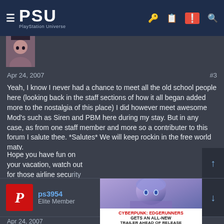PSU — PlayStation Universe
Apr 24, 2007   #3
Yeah, I know I never had a chance to meet all the old school people here (looking back in the staff sections of how it all began added more to the nostalgia of this place) I did however meet awesome Mod's such as Siren and PBM here during my stay. But in any case, as from one staff member and more so a contributer to this forum I salute thee. *Salutes* We will keep rockin in the free world maty.
Hope you have fun on your vacation, watch out for those airline security though, I here they're strict on muppets. 😕
ps3954
Elite Member
Apr 24, 2007
sorry to hear that
[Figure (screenshot): Cyberpunk: Edgerunners advertisement overlay showing anime character with text: CYBERPUNK: EDGERUNNERS GETS AN ALL-NEW TRAILER AHEAD OF RELEASE]